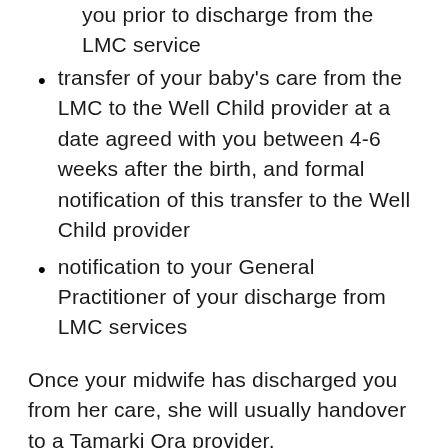you prior to discharge from the LMC service
transfer of your baby's care from the LMC to the Well Child provider at a date agreed with you between 4-6 weeks after the birth, and formal notification of this transfer to the Well Child provider
notification to your General Practitioner of your discharge from LMC services
Once your midwife has discharged you from her care, she will usually handover to a Tamarki Ora provider.
OTHER THINGS TO CONSIDER ABOUT MIDWIFERY/ LMC CARE DURING PREGNANCY AND BIRTH: